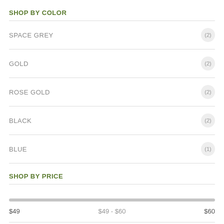SHOP BY COLOR
SPACE GREY (2)
GOLD (2)
ROSE GOLD (2)
BLACK (2)
BLUE (1)
SHOP BY PRICE
$49   $49 - $60   $60